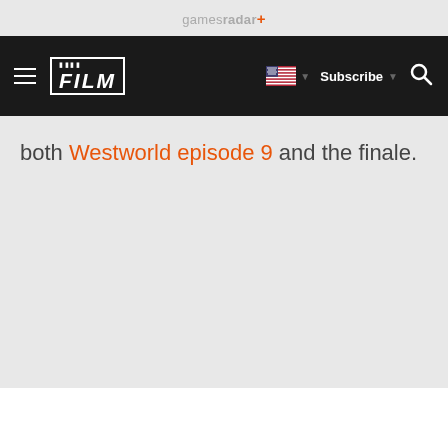gamesradar+
[Figure (screenshot): Navigation bar with Total Film logo, hamburger menu, US flag dropdown, Subscribe button, and search icon]
both Westworld episode 9 and the finale.